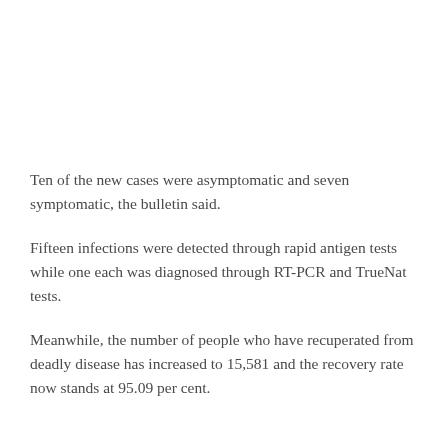Ten of the new cases were asymptomatic and seven symptomatic, the bulletin said.
Fifteen infections were detected through rapid antigen tests while one each was diagnosed through RT-PCR and TrueNat tests.
Meanwhile, the number of people who have recuperated from deadly disease has increased to 15,581 and the recovery rate now stands at 95.09 per cent.